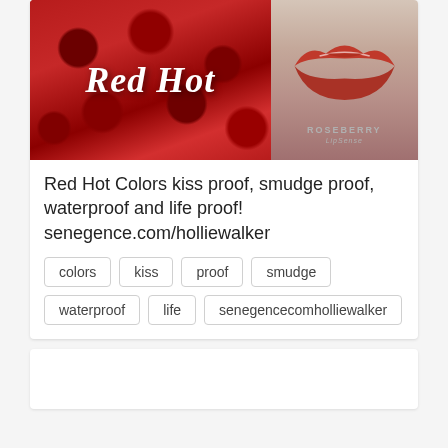[Figure (photo): Two-panel image: left panel shows red roses background with 'Red Hot' text in white cursive script; right panel shows lips wearing red lipstick with 'ROSEBERRY' text overlay]
Red Hot Colors kiss proof, smudge proof, waterproof and life proof!
senegence.com/holliewalker
colors
kiss
proof
smudge
waterproof
life
senegencecomholliewalker